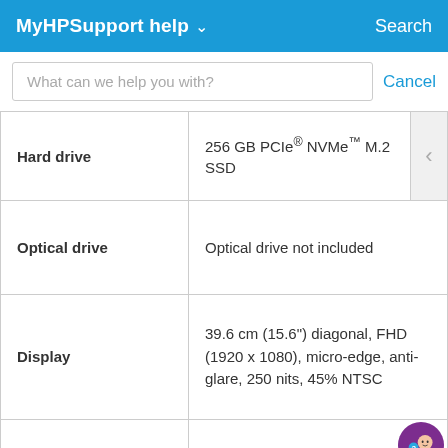MyHPSupport help ∨  Search
What can we help you with?  Cancel
|  |  |
| --- | --- |
| Hard drive | 256 GB PCIe® NVMe™ M.2 SSD |
| Optical drive | Optical drive not included |
| Display | 39.6 cm (15.6") diagonal, FHD (1920 x 1080), micro-edge, anti-glare, 250 nits, 45% NTSC |
|  | Dual-band Wi-Fi 6 (1 x 2)... |